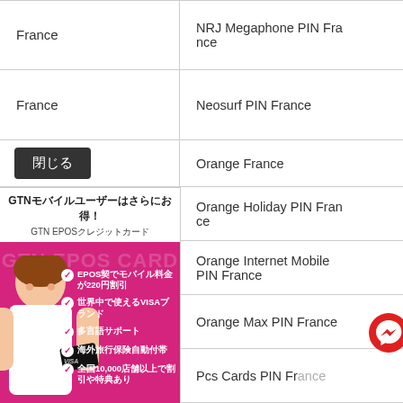| Country | Product |
| --- | --- |
| France | NRJ Megaphone PIN France |
| France | Neosurf PIN France |
| 閉じる | Orange France |
| (ad) | Orange Holiday PIN France |
| (ad) | Orange Internet Mobile PIN France |
| (ad) | Orange Max PIN France |
| (ad) | Pcs Cards PIN France |
[Figure (infographic): GTN EPOS credit card advertisement in Japanese. Shows a smiling woman holding a credit card against pink background. Text: GTNモバイルユーザーはさらにお得！GTN EPOSクレジットカード. Bullet points listing benefits: EPOS契でモバイル料金が220円割引, 世界中で使えるVISAブランド, 多言語サポート, 海外旅行保険自動付帯, 全国10,000店舗以上で割引や特典あり. Annual fee: 年会費 永年無料. VISA card shown at bottom.]